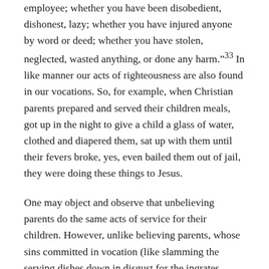employee; whether you have been disobedient, dishonest, lazy; whether you have injured anyone by word or deed; whether you have stolen, neglected, wasted anything, or done any harm."33 In like manner our acts of righteousness are also found in our vocations. So, for example, when Christian parents prepared and served their children meals, got up in the night to give a child a glass of water, clothed and diapered them, sat up with them until their fevers broke, yes, even bailed them out of jail, they were doing these things to Jesus.
One may object and observe that unbelieving parents do the same acts of service for their children. However, unlike believing parents, whose sins committed in vocation (like slamming the serving dishes down in disgust for the ingrates gathered at the table, reluctantly getting out of bed to attend to the needs of the whining child, etc.) are all forgiven, unbelieving parents have no forgiveness for their sins.